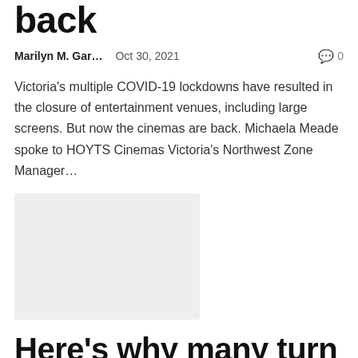back
Marilyn M. Gar…   Oct 30, 2021   🗨 0
Victoria's multiple COVID-19 lockdowns have resulted in the closure of entertainment venues, including large screens. But now the cinemas are back. Michaela Meade spoke to HOYTS Cinemas Victoria's Northwest Zone Manager…
[Figure (photo): Thumbnail image placeholder (light gray rectangle)]
Here's why many turn to horror movies during Halloween – Oakland News Now